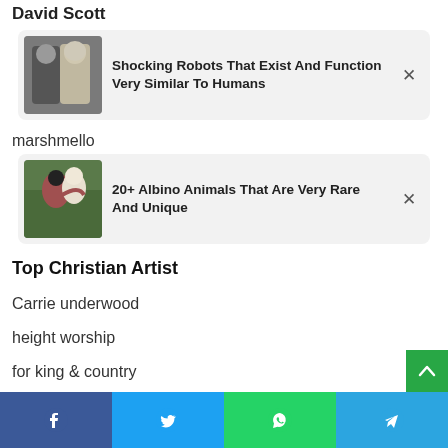David Scott...
[Figure (screenshot): Card with thumbnail of two people (man and woman robot) and title 'Shocking Robots That Exist And Function Very Similar To Humans' with an X close button]
marshmello
[Figure (screenshot): Card with thumbnail of person hugging an albino-looking figure and title '20+ Albino Animals That Are Very Rare And Unique' with an X close button]
Top Christian Artist
Carrie underwood
height worship
for king & country
Facebook  Twitter  WhatsApp  Telegram